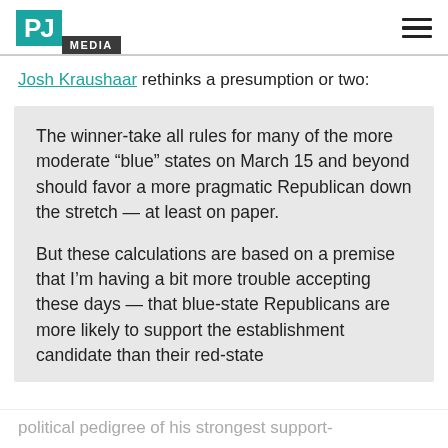PJ MEDIA
Josh Kraushaar rethinks a presumption or two:
The winner-take all rules for many of the more moderate “blue” states on March 15 and beyond should favor a more pragmatic Republican down the stretch — at least on paper.

But these calculations are based on a premise that I’m having a bit more trouble accepting these days — that blue-state Republicans are more likely to support the establishment candidate than their red-state
political pedigree of his strongest support-